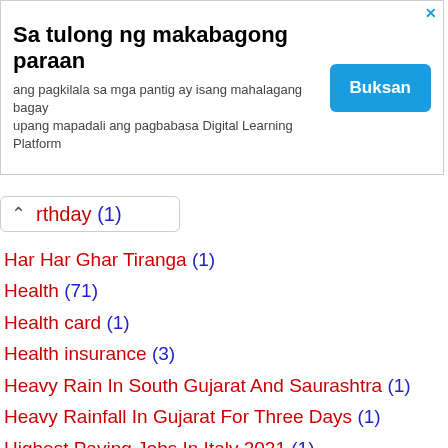[Figure (other): Advertisement banner in Filipino: Sa tulong ng makabagong paraan with Buksan button]
rthday (1)
Har Har Ghar Tiranga (1)
Health (71)
Health card (1)
Health insurance (3)
Heavy Rain In South Gujarat And Saurashtra (1)
Heavy Rainfall In Gujarat For Three Days (1)
Highest Paying Jobs In Italy 2021 (1)
Highest Paying Jobs In New Zealand (1)
hindu book (2)
History (1)
HogaToga App (1)
Holi (3)
holiday (2)
Holiday list (1)